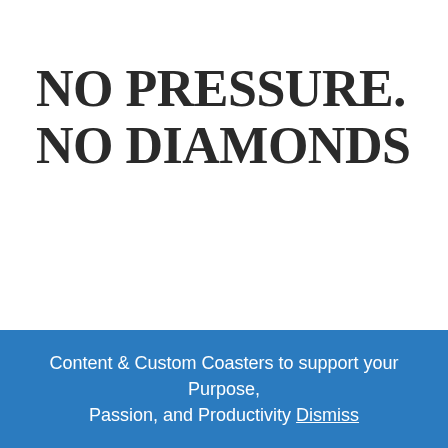NO PRESSURE. NO DIAMONDS
Content & Custom Coasters to support your Purpose, Passion, and Productivity Dismiss